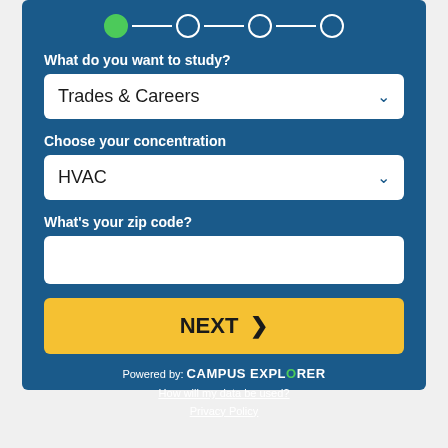[Figure (infographic): Step progress indicator with 4 circles connected by lines; first circle filled green, others white/empty]
What do you want to study?
Trades & Careers
Choose your concentration
HVAC
What's your zip code?
NEXT
Powered by: CAMPUS EXPLORER
How will my data be used?
Privacy Policy